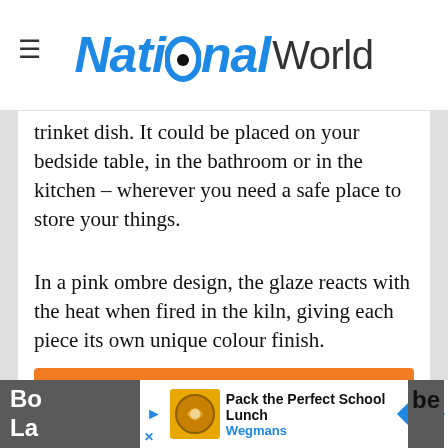National World
trinket dish. It could be placed on your bedside table, in the bathroom or in the kitchen – wherever you need a safe place to store your things.
In a pink ombre design, the glaze reacts with the heat when fired in the kiln, giving each piece its own unique colour finish.
[Figure (other): Orange 'Buy now' button with shopping cart icon]
[Figure (other): Advertisement banner: Pack the Perfect School Lunch - Wegmans]